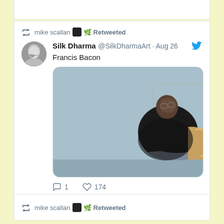[Figure (screenshot): Twitter/X screenshot showing a retweet by mike scallan of a tweet by @SilkDharmaArt dated Aug 26, featuring a Francis Bacon painting. The tweet text says 'Francis Bacon'. The painting shows a seated figure with a distorted face in dark clothing against a blue background. The tweet has 1 reply and 174 likes. Below is another retweet bar showing 'mike scallan Retweeted'.]